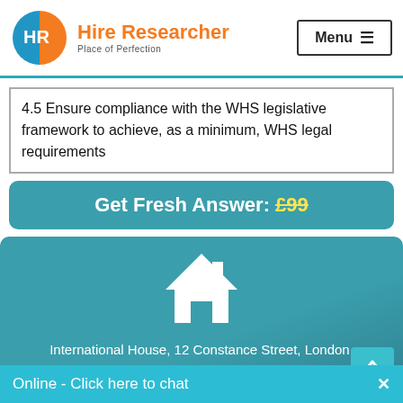Hire Researcher — Place of Perfection | Menu
| 4.5 Ensure compliance with the WHS legislative framework to achieve, as a minimum, WHS legal requirements |
Get Fresh Answer: £99
[Figure (illustration): House icon on teal background with address: International House, 12 Constance Street, London, United Kingdom, E16 2DQ, Company # 11483120]
Online - Click here to chat